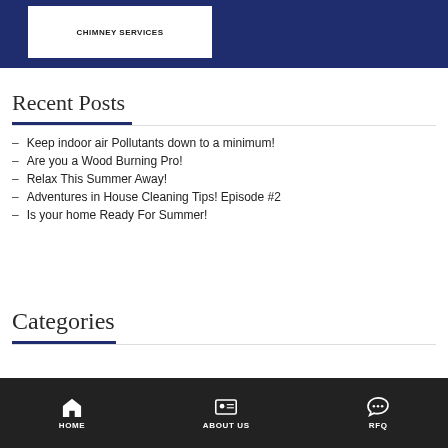[Figure (screenshot): Dark navy blue top banner with a white button labeled CHIMNEY SERVICES]
Recent Posts
– Keep indoor air Pollutants down to a minimum!
– Are you a Wood Burning Pro!
– Relax This Summer Away!
– Adventures in House Cleaning Tips! Episode #2
– Is your home Ready For Summer!
Categories
HOME    ABOUT US    RFQ